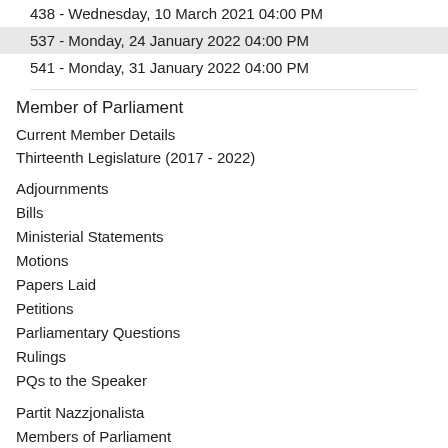438 - Wednesday, 10 March 2021 04:00 PM
537 - Monday, 24 January 2022 04:00 PM
541 - Monday, 31 January 2022 04:00 PM
Member of Parliament
Current Member Details
Thirteenth Legislature (2017 - 2022)
Adjournments
Bills
Ministerial Statements
Motions
Papers Laid
Petitions
Parliamentary Questions
Rulings
PQs to the Speaker
Partit Nazzjonalista
Members of Parliament
Standing Orders of the House of Representatives